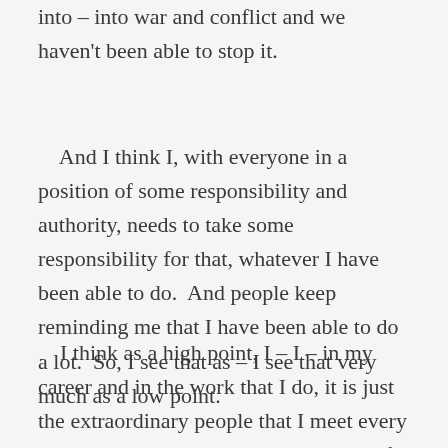into – into war and conflict and we haven't been able to stop it.
And I think I, with everyone in a position of some responsibility and authority, needs to take some responsibility for that, whatever I have been able to do. And people keep reminding me that I have been able to do a lot. So, I see that as – I see that very much as a low point.
I think as a high point, I – I – in my career and in the work that I do, it is just the extraordinary people that I meet every single day. I mean, I've been to some of the worst places in the world – Central African Republic, Somalia, Afghanistan, South